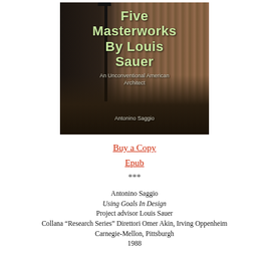[Figure (illustration): Book cover of 'Five Masterworks By Louis Sauer: An Unconventional American Architect' by Antonino Saggio. Dark urban street scene with brick building and bare trees in background. Title in large light green text, subtitle and author name in smaller lighter text.]
Buy a Copy
Epub
***
Antonino Saggio
Using Goals In Design
Project advisor Louis Sauer
Collana “Research Series” Direttori Omer Akin, Irving Oppenheim
Carnegie-Mellon, Pittsburgh
1988